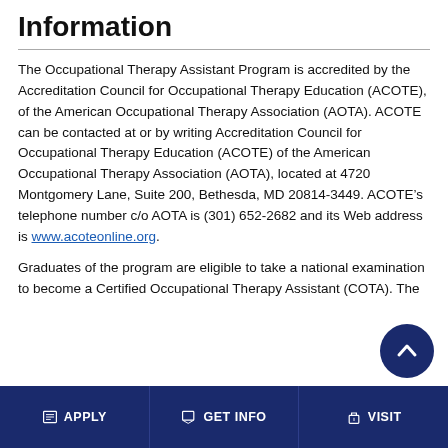Information
The Occupational Therapy Assistant Program is accredited by the Accreditation Council for Occupational Therapy Education (ACOTE), of the American Occupational Therapy Association (AOTA). ACOTE can be contacted at or by writing Accreditation Council for Occupational Therapy Education (ACOTE) of the American Occupational Therapy Association (AOTA), located at 4720 Montgomery Lane, Suite 200, Bethesda, MD 20814-3449. ACOTE’s telephone number c/o AOTA is (301) 652-2682 and its Web address is www.acoteonline.org.
Graduates of the program are eligible to take a national examination to become a Certified Occupational Therapy Assistant (COTA). The...